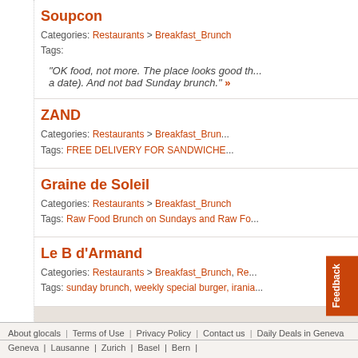Soupcon
Categories: Restaurants > Breakfast_Brunch
Tags:
"OK food, not more. The place looks good th... a date). And not bad Sunday brunch." »
ZAND
Categories: Restaurants > Breakfast_Brun...
Tags: FREE DELIVERY FOR SANDWICHE...
Graine de Soleil
Categories: Restaurants > Breakfast_Brunch
Tags: Raw Food Brunch on Sundays and Raw Fo...
Le B d'Armand
Categories: Restaurants > Breakfast_Brunch, Re...
Tags: sunday brunch, weekly special burger, irania...
About glocals | Terms of Use | Privacy Policy | Contact us | Daily Deals in Geneva
Geneva | Lausanne | Zurich | Basel | Bern |